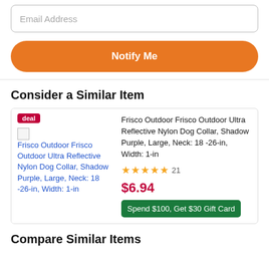Email Address
Notify Me
Consider a Similar Item
[Figure (screenshot): Product card for Frisco Outdoor Ultra Reflective Nylon Dog Collar with deal badge, product image placeholder, star rating, price $6.94, and gift card promotion]
Frisco Outdoor Frisco Outdoor Ultra Reflective Nylon Dog Collar, Shadow Purple, Large, Neck: 18 -26-in, Width: 1-in
$6.94
Spend $100, Get $30 Gift Card
Compare Similar Items